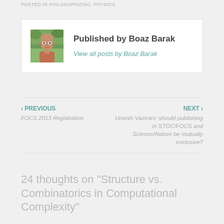POSTED IN PHILOSOPHIZING, PHYSICS
[Figure (photo): Headshot photo of Boaz Barak outdoors with green background]
Published by Boaz Barak
View all posts by Boaz Barak
‹ PREVIOUS
FOCS 2013 Registration
NEXT ›
Umesh Vazirani: should publishing in STOC/FOCS and Science/Nature be mutually exclusive?
24 thoughts on “Structure vs. Combinatorics in Computational Complexity”